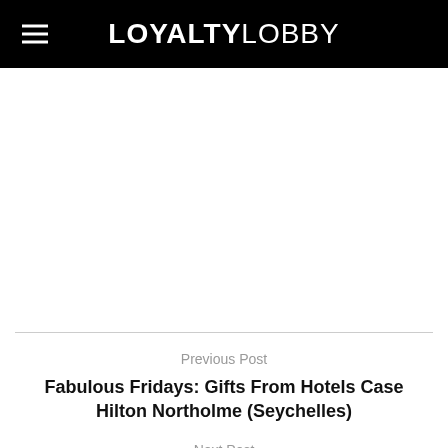LOYALTYLOBBY
Previous Post
Fabulous Fridays: Gifts From Hotels Case Hilton Northolme (Seychelles)
Next Post